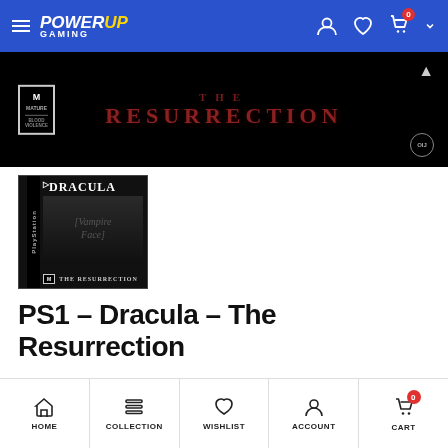PowerUp Gaming — navigation header
[Figure (screenshot): Dark banner image showing 'THE RESURRECTION' text in gothic red lettering on black background, with rating box on left and OIJ logo bottom right]
[Figure (photo): PlayStation 1 game box cover for Dracula: The Resurrection showing vampire face on black and white cover with M rating]
PS1 - Dracula - The Resurrection
HOME | COLLECTION | WISHLIST | ACCOUNT | CART